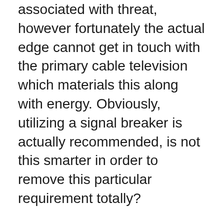associated with threat, however fortunately the actual edge cannot get in touch with the primary cable television which materials this along with energy. Obviously, utilizing a signal breaker is actually recommended, is not this smarter in order to remove this particular requirement totally?
Utilizing energy rather than gasoline indicates there is you don't need to transportation, shop as well as best upward your own lawnmower along with inflammable fuel, so it's apparent to determine the reason why cord-less mowers tend to be less dangerous.
Cord-less mowers are usually quieter compared to a number of other kinds of